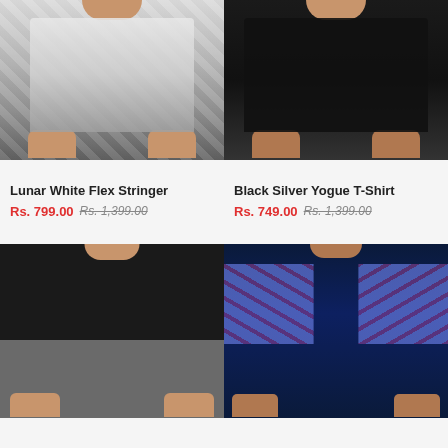[Figure (photo): Man wearing Lunar White Flex Stringer – white camouflage pattern tank top, dark shorts]
[Figure (photo): Man wearing Black Silver Yogue T-Shirt – solid black t-shirt, dark shorts]
Lunar White Flex Stringer Rs. 799.00 Rs. 1,399.00
Black Silver Yogue T-Shirt Rs. 749.00 Rs. 1,399.00
[Figure (photo): Man wearing grey and black quarter-zip long sleeve athletic top]
[Figure (photo): Man wearing navy blue t-shirt with blue/pink giraffe print sleeves and quarter zip]